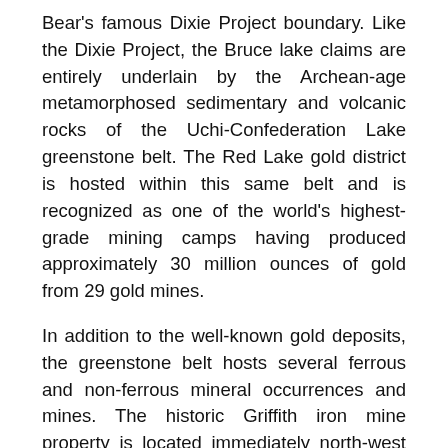Bear's famous Dixie Project boundary. Like the Dixie Project, the Bruce lake claims are entirely underlain by the Archean-age metamorphosed sedimentary and volcanic rocks of the Uchi-Confederation Lake greenstone belt. The Red Lake gold district is hosted within this same belt and is recognized as one of the world's highest-grade mining camps having produced approximately 30 million ounces of gold from 29 gold mines.
In addition to the well-known gold deposits, the greenstone belt hosts several ferrous and non-ferrous mineral occurrences and mines. The historic Griffith iron mine property is located immediately north-west of Portofino's Property. The Griffith Mine reportedly operated from 1968 to 1986 and produced 22.85 million tons of iron ore pellets with average grading of 66.7% Fe from 78.8 million tons of crude ore with average grading of